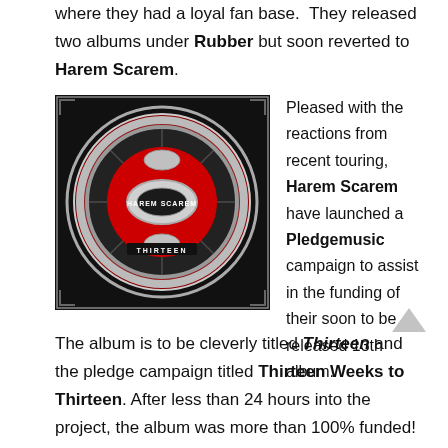where they had a loyal fan base.  They released two albums under Rubber but soon reverted to Harem Scarem.
[Figure (photo): Album cover for Harem Scarem's Thirteen album — a circular silver ornate mechanical design with red background and the text 'HAREM SCAREM' and 'THIRTEEN' visible.]
Pleased with the reactions from recent touring, Harem Scarem have launched a Pledgemusic campaign to assist in the funding of their soon to be released 13th album.
The album is to be cleverly titled Thirteen and the pledge campaign titled Thirteen Weeks to Thirteen. After less than 24 hours into the project, the album was more than 100% funded!  Thirteen will be released on December 8, 2014 and the band features originals...